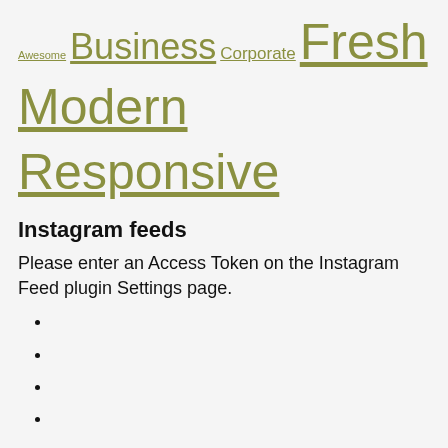Awesome Business Corporate Fresh Modern Responsive
Instagram feeds
Please enter an Access Token on the Instagram Feed plugin Settings page.
© 2019 Idea, with Love by
Home
About
Portfolio
Services
Contact